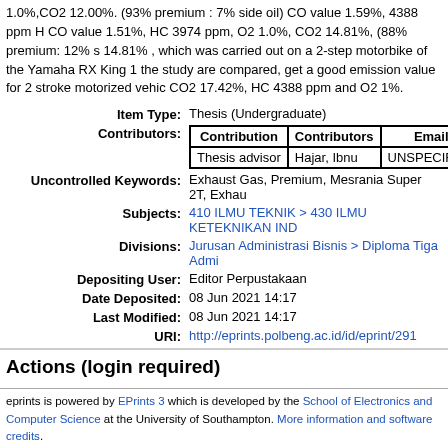1.0%,CO2 12.00%. (93% premium : 7% side oil) CO value 1.59%, 4388 ppm H CO value 1.51%, HC 3974 ppm, O2 1.0%, CO2 14.81%, (88% premium: 12% s 14.81% , which was carried out on a 2-step motorbike of the Yamaha RX King 1 the study are compared, get a good emission value for 2 stroke motorized vehic CO2 17.42%, HC 4388 ppm and O2 1%.
| Item Type: | Thesis (Undergraduate) |
| --- | --- |
| Contribution | Contributors | Email | NID |
| --- | --- | --- | --- |
| Thesis advisor | Hajar, Ibnu | UNSPECIFIED | NID |
Uncontrolled Keywords: Exhaust Gas, Premium, Mesrania Super 2T, Exhau
Subjects: 410 ILMU TEKNIK > 430 ILMU KETEKNIKAN IND
Divisions: Jurusan Administrasi Bisnis > Diploma Tiga Admi
Depositing User: Editor Perpustakaan
Date Deposited: 08 Jun 2021 14:17
Last Modified: 08 Jun 2021 14:17
URI: http://eprints.polbeng.ac.id/id/eprint/291
Actions (login required)
View Item
eprints is powered by EPrints 3 which is developed by the School of Electronics and Computer Science at the University of Southampton. More information and software credits.